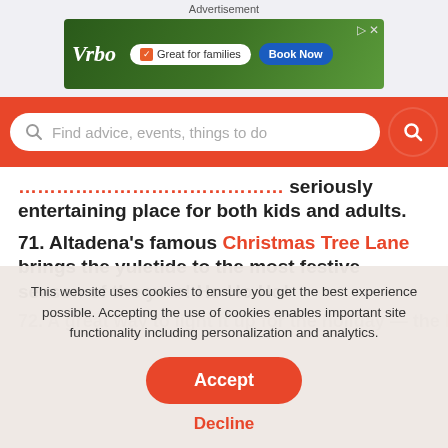Advertisement
[Figure (screenshot): Vrbo advertisement banner: 'Great for families' with Book Now button]
[Figure (screenshot): Red search bar with placeholder text: Find advice, events, things to do]
seriously entertaining place for both kids and adults.
71. Altadena's famous Christmas Tree Lane brings the yuletide to the most festive season of the year! Ho Ho Ho!
72. A great way to light it up for the holiday — the LA Zoo lights [partially visible]
This website uses cookies to ensure you get the best experience possible. Accepting the use of cookies enables important site functionality including personalization and analytics.
Accept
Decline